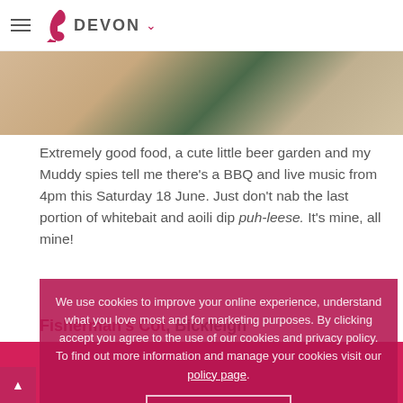DEVON
[Figure (photo): Partial food photograph showing greenery and white paper/packaging on wooden background]
Extremely good food, a cute little beer garden and my Muddy spies tell me there's a BBQ and live music from 4pm this Saturday 18 June. Just don't nab the last portion of whitebait and aoili dip puh-leese. It's mine, all mine!
Fisherman's Cot, Bickleigh
We use cookies to improve your online experience, understand what you love most and for marketing purposes. By clicking accept you agree to the use of our cookies and privacy policy. To find out more information and manage your cookies visit our policy page.
I accept!